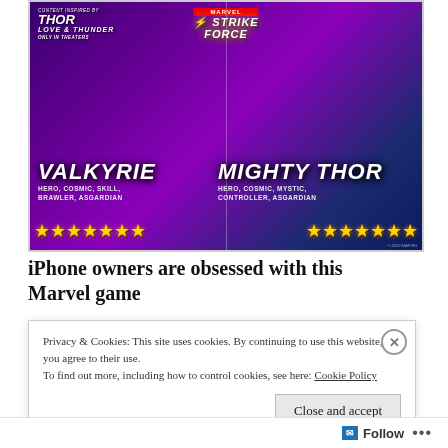[Figure (illustration): Marvel Strike Force game advertisement featuring two characters: Valkyrie (Hero, Cosmic, Skill, Brawler, Asgardian) with 7 gold stars, and Mighty Thor (Hero, Cosmic, Mystic, Controller, Asgardian) with 7 gold stars. Contains Thor: Love and Thunder movie logo and Marvel Strike Force game logo on a purple/blue gradient background.]
iPhone owners are obsessed with this Marvel game
Privacy & Cookies: This site uses cookies. By continuing to use this website, you agree to their use.
To find out more, including how to control cookies, see here: Cookie Policy
Close and accept
Follow